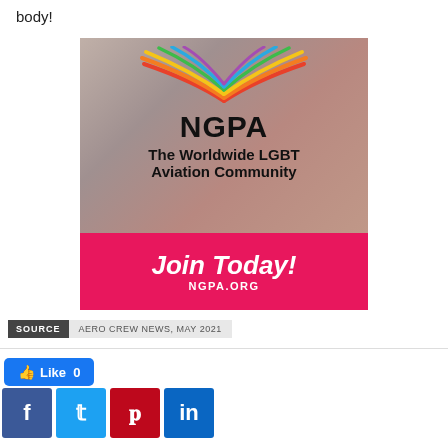body!
[Figure (illustration): NGPA advertisement showing rainbow wings logo above text 'NGPA — The Worldwide LGBT Aviation Community' on a photo background of a red aircraft, with a pink banner at the bottom saying 'Join Today! NGPA.ORG']
SOURCE   AERO CREW NEWS, MAY 2021
Like 0
[Figure (infographic): Social sharing buttons: Facebook (blue), Twitter (cyan), Pinterest (dark red), LinkedIn (dark blue)]